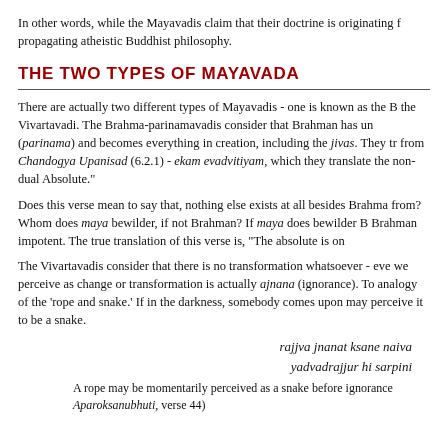In other words, while the Mayavadis claim that their doctrine is originating f… propagating atheistic Buddhist philosophy.
THE TWO TYPES OF MAYAVADA
There are actually two different types of Mayavadis - one is known as the B… the Vivartavadi. The Brahma-parinamavadis consider that Brahman has un… (parinama) and becomes everything in creation, including the jivas. They tr… from Chandogya Upanisad (6.2.1) - ekam evadvitiyam, which they translate… the non-dual Absolute."
Does this verse mean to say that, nothing else exists at all besides Brahma… from? Whom does maya bewilder, if not Brahman? If maya does bewilder B… Brahman impotent. The true translation of this verse is, "The absolute is on…
The Vivartavadis consider that there is no transformation whatsoever - eve… we perceive as change or transformation is actually ajnana (ignorance). To… analogy of the 'rope and snake.' If in the darkness, somebody comes upon… may perceive it to be a snake.
rajjva jnanat ksane naiva yadvadrajjur hi sarpini
A rope may be momentarily perceived as a snake before ignorance… Aparoksanubhuti, verse 44)